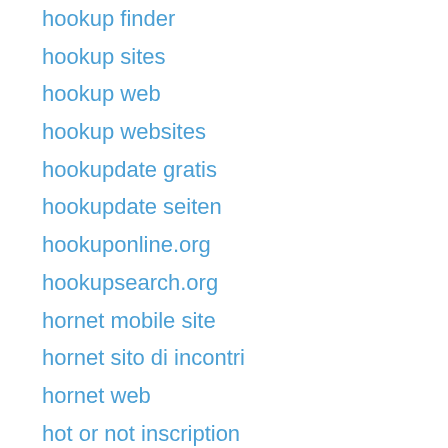hookup finder
hookup sites
hookup web
hookup websites
hookupdate gratis
hookupdate seiten
hookuponline.org
hookupsearch.org
hornet mobile site
hornet sito di incontri
hornet web
hot or not inscription
hot or not mobile site
houston escort
How To Meet A Russian Woman